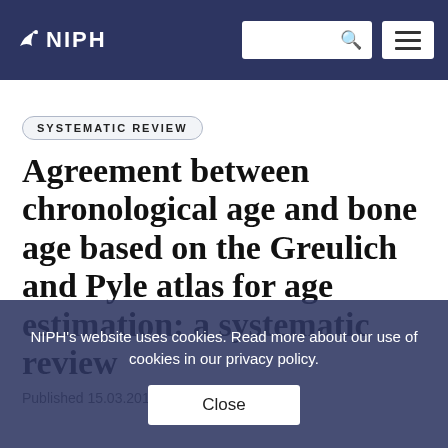NIPH
SYSTEMATIC REVIEW
Agreement between chronological age and bone age based on the Greulich and Pyle atlas for age estimation: a systematic review
Published 15.03.2017
NIPH's website uses cookies. Read more about our use of cookies in our privacy policy.
Close